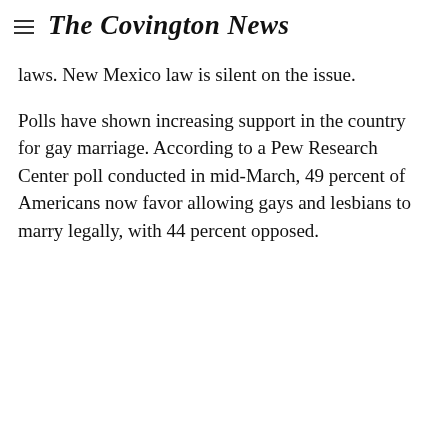The Covington News
laws. New Mexico law is silent on the issue.
Polls have shown increasing support in the country for gay marriage. According to a Pew Research Center poll conducted in mid-March, 49 percent of Americans now favor allowing gays and lesbians to marry legally, with 44 percent opposed.